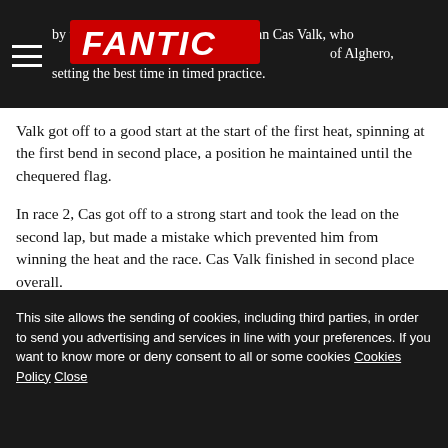by the new entry, the young Dutchman Cas Valk, who immediately felt at home on the sand of Alghero, setting the best time in timed practice.
Valk got off to a good start at the start of the first heat, spinning at the first bend in second place, a position he maintained until the chequered flag.
In race 2, Cas got off to a strong start and took the lead on the second lap, but made a mistake which prevented him from winning the heat and the race. Cas Valk finished in second place overall.
In the Mx2 class the Fantic Factory Maddii Racing Team lined up three riders: Nicholas Lapucci, back after the injury suffered a few weeks ago in training, Hakon Osterhagen and the promising norwegian Cas...
This site allows the sending of cookies, including third parties, in order to send you advertising and services in line with your preferences. If you want to know more or deny consent to all or some cookies Cookies Policy Close